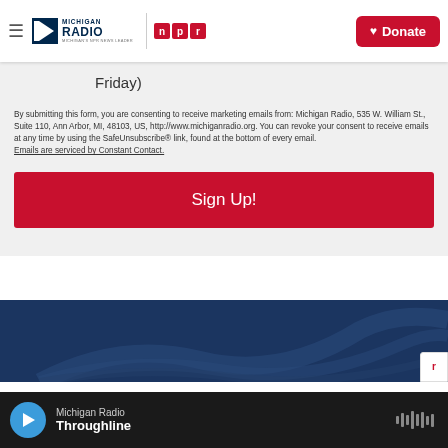Michigan Radio | NPR | Donate
Friday)
By submitting this form, you are consenting to receive marketing emails from: Michigan Radio, 535 W. William St., Suite 110, Ann Arbor, MI, 48103, US, http://www.michiganradio.org. You can revoke your consent to receive emails at any time by using the SafeUnsubscribe® link, found at the bottom of every email. Emails are serviced by Constant Contact.
Sign Up!
[Figure (photo): Dark blue background image with NPR/Michigan Radio branding curves]
Michigan Radio | Throughline